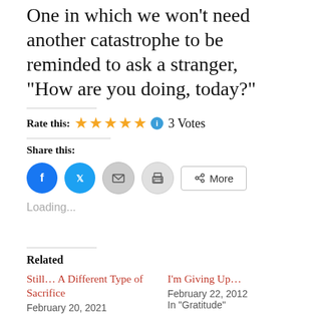One in which we won't need another catastrophe to be reminded to ask a stranger, “How are you doing, today?”
Rate this: ★★★★★ 3 Votes
Share this:
[Figure (infographic): Social share buttons: Facebook (blue circle), Twitter (blue circle), Email (grey circle with envelope), Print (grey circle with printer), and a More button with share icon]
Loading...
Related
Still… A Different Type of Sacrifice
February 20, 2021
In “COVID-19”
I’m Giving Up…
February 22, 2012
In “Gratitude”